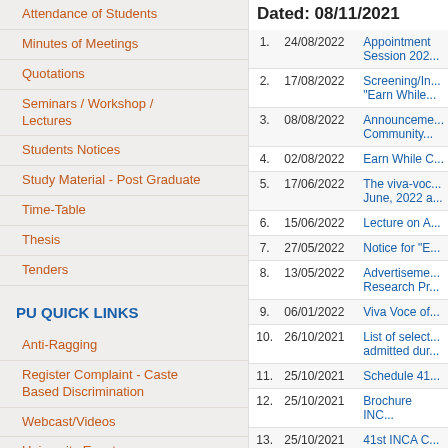Attendance of Students
Minutes of Meetings
Quotations
Seminars / Workshop / Lectures
Students Notices
Study Material - Post Graduate
Time-Table
Thesis
Tenders
PU QUICK LINKS
Anti-Ragging
Register Complaint - Caste Based Discrimination
Webcast/Videos
University Events
PU Committee Against Sexual Harassment (PUCASH)
Grievance Redressal Cell
IQAC / NAAC
Dated: 08/11/2021
| # | Date | Title |
| --- | --- | --- |
| 1. | 24/08/2022 | Appointment Session 202... |
| 2. | 17/08/2022 | Screening/In... "Earn While... |
| 3. | 08/08/2022 | Announcement Community... |
| 4. | 02/08/2022 | Earn While C... |
| 5. | 17/06/2022 | The viva-voc... June, 2022 a... |
| 6. | 15/06/2022 | Lecture on A... |
| 7. | 27/05/2022 | Notice for "E... |
| 8. | 13/05/2022 | Advertisement Research Pr... |
| 9. | 06/01/2022 | Viva Voce of... |
| 10. | 26/10/2021 | List of select... admitted dur... |
| 11. | 25/10/2021 | Schedule 41... |
| 12. | 25/10/2021 | Brochure INC... |
| 13. | 25/10/2021 | 41st INCA C... |